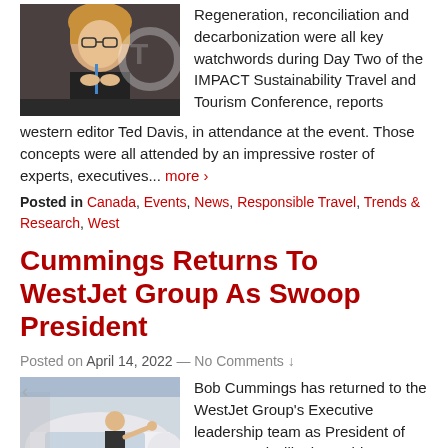[Figure (photo): Woman speaking at a conference podium, with glasses and light hair, dark background.]
Regeneration, reconciliation and decarbonization were all key watchwords during Day Two of the IMPACT Sustainability Travel and Tourism Conference, reports western editor Ted Davis, in attendance at the event. Those concepts were all attended by an impressive roster of experts, executives... more ›
Posted in Canada, Events, News, Responsible Travel, Trends & Research, West
Cummings Returns To WestJet Group As Swoop President
Posted on April 14, 2022 — No Comments ↓
[Figure (photo): Man standing on aircraft with #Bob text visible, WestJet Swoop plane.]
Bob Cummings has returned to the WestJet Group's Executive leadership team as President of Swoop and will take on his new role on April 18. Alexis von Hoensbroech, Chief Executive Officer, the